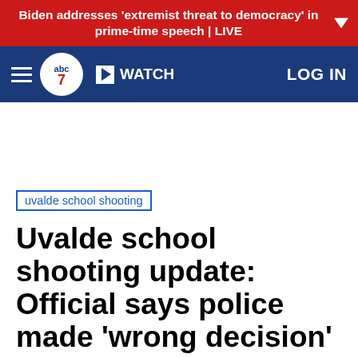Biden addresses 'extremist threat to democracy' in prime-time speech | LIVE
[Figure (logo): ABC7 navigation bar with hamburger menu, ABC7 logo, WATCH button, and LOG IN link]
uvalde school shooting
Uvalde school shooting update: Official says police made 'wrong decision' not to enter classroom